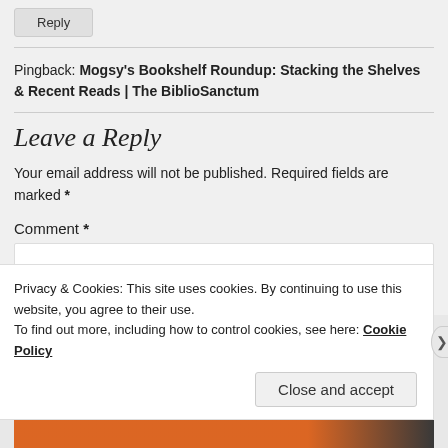[Figure (other): Reply button at top of page]
Pingback: Mogsy's Bookshelf Roundup: Stacking the Shelves & Recent Reads | The BiblioSanctum
Leave a Reply
Your email address will not be published. Required fields are marked *
Comment *
Privacy & Cookies: This site uses cookies. By continuing to use this website, you agree to their use. To find out more, including how to control cookies, see here: Cookie Policy
Close and accept